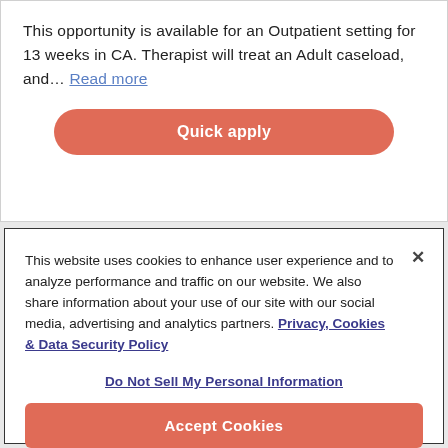This opportunity is available for an Outpatient setting for 13 weeks in CA. Therapist will treat an Adult caseload, and… Read more
Quick apply
This website uses cookies to enhance user experience and to analyze performance and traffic on our website. We also share information about your use of our site with our social media, advertising and analytics partners. Privacy, Cookies & Data Security Policy
Do Not Sell My Personal Information
Accept Cookies